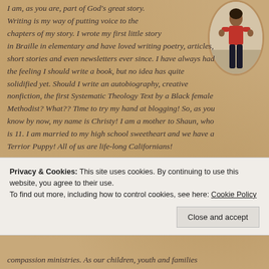[Figure (photo): Circular portrait photo of a person in a red top and dark pants, standing, shown from head to toe against a light background.]
I am, as you are, part of God's great story. Writing is my way of putting voice to the chapters of my story. I wrote my first little story in Braille in elementary and have loved writing poetry, articles, short stories and even newsletters ever since. I have always had the feeling I should write a book, but no idea has quite solidified yet. Should I write an autobiography, creative nonfiction, the first Systematic Theology Text by a Black female Methodist? What?? Time to try my hand at blogging! So, as you know by now, my name is Christy! I am a mother to Shaun, who is 11. I am married to my high school sweetheart and we have a Terrior Puppy! All of us are life-long Californians!
Privacy & Cookies: This site uses cookies. By continuing to use this website, you agree to their use.
To find out more, including how to control cookies, see here: Cookie Policy
Close and accept
compassion ministries. As our children, youth and families